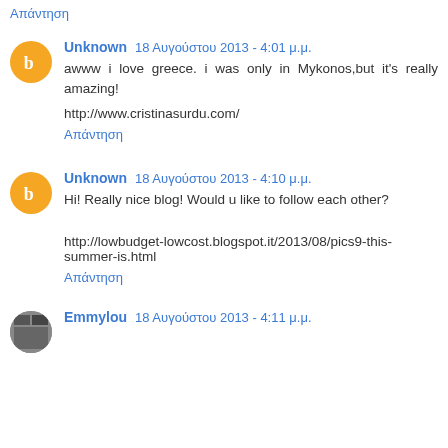Απάντηση
Unknown  18 Αυγούστου 2013 - 4:01 μ.μ.
awww i love greece. i was only in Mykonos,but it's really amazing!

http://www.cristinasurdu.com/
Απάντηση
Unknown  18 Αυγούστου 2013 - 4:10 μ.μ.
Hi! Really nice blog! Would u like to follow each other?

http://lowbudget-lowcost.blogspot.it/2013/08/pics9-this-summer-is.html
Απάντηση
Emmylou  18 Αυγούστου 2013 - 4:11 μ.μ.